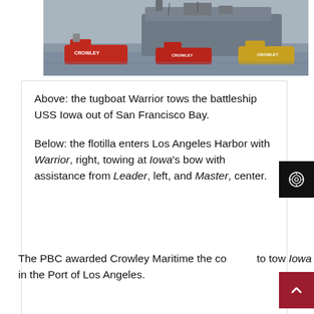[Figure (photo): Tugboats including Crowley vessels towing the battleship USS Iowa across a bay, with large grey warship visible behind red tugboats on grey water.]
Above: the tugboat Warrior tows the battleship USS Iowa out of San Francisco Bay.

Below: the flotilla enters Los Angeles Harbor with Warrior, right, towing at Iowa's bow with assistance from Leader, left, and Master, center.
The PBC awarded Crowley Maritime the co... to tow Iowa from the Port of Richmond in San Francisco Bay to Pier 87 in the Port of Los Angeles.